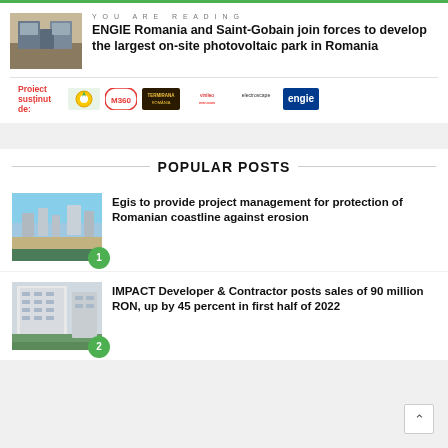YOU ARE READING
ENGIE Romania and Saint-Gobain join forces to develop the largest on-site photovoltaic park in Romania
[Figure (illustration): Two men in suits sitting at a table, article thumbnail image]
[Figure (logo): Sponsor logos strip: Proiect susținut de: with multiple company logos including EM360, Termirana, ENGIE and others]
POPULAR POSTS
[Figure (photo): Coastal town aerial view, beach and buildings, for Egis coastline article]
Egis to provide project management for protection of Romanian coastline against erosion
[Figure (photo): Modern residential building with green lawn, for IMPACT Developer article]
IMPACT Developer & Contractor posts sales of 90 million RON, up by 45 percent in first half of 2022